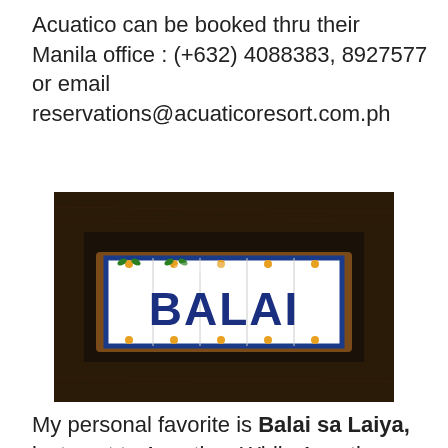Acuatico can be booked thru their Manila office : (+632) 4088383, 8927577 or email reservations@acuaticoresort.com.ph
[Figure (photo): A decorative ceramic tile sign reading 'BALAI' in dark blue letters on white tiles with colorful floral border pattern, mounted on dark wood background.]
My personal favorite is Balai sa Laiya, just next to Acuatico. While Acuatico looks high-end and busy, Balai has a restful, provincial setting even while the accommodations are comfortable and air conditioned. Tall